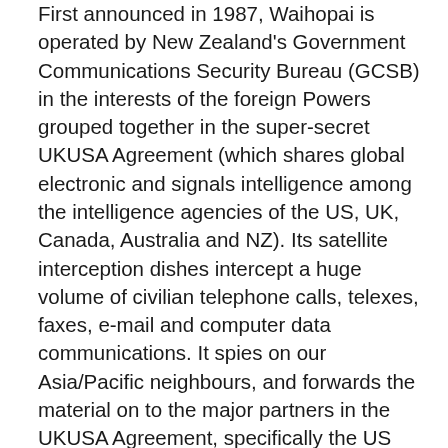First announced in 1987, Waihopai is operated by New Zealand's Government Communications Security Bureau (GCSB) in the interests of the foreign Powers grouped together in the super-secret UKUSA Agreement (which shares global electronic and signals intelligence among the intelligence agencies of the US, UK, Canada, Australia and NZ). Its satellite interception dishes intercept a huge volume of civilian telephone calls, telexes, faxes, e-mail and computer data communications. It spies on our Asia/Pacific neighbours, and forwards the material on to the major partners in the UKUSA Agreement, specifically the US National Security Agency (NSA). Its targets are international civilian communications involving New Zealanders, including the interception of international phone calls.
Post- 9/11 the GCSB and Waihopai now spy further afield,